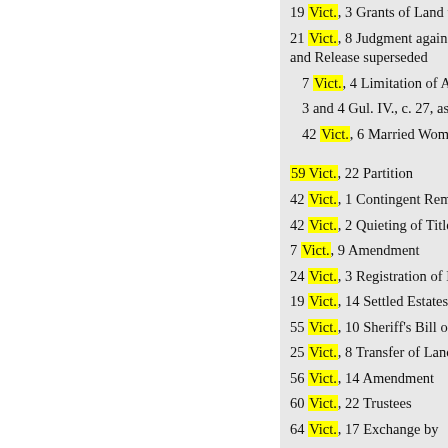19 Vict., 3 Grants of Land to
21 Vict., 8 Judgment against and Release superseded
7 Vict., 4 Limitation of Action
3 and 4 Gul. IV., c. 27, as add
42 Vict., 6 Married Women's
59 Vict., 22 Partition
42 Vict., 1 Contingent Remai
42 Vict., 2 Quieting of Titles
7 Vict., 9 Amendment
24 Vict., 3 Registration of De
19 Vict., 14 Settled Estates ...
55 Vict., 10 Sheriff's Bill of Sa
25 Vict., 8 Transfer of Land A
56 Vict., 14 Amendment
60 Vict., 22 Trustees
64 Vict., 17 Exchange by